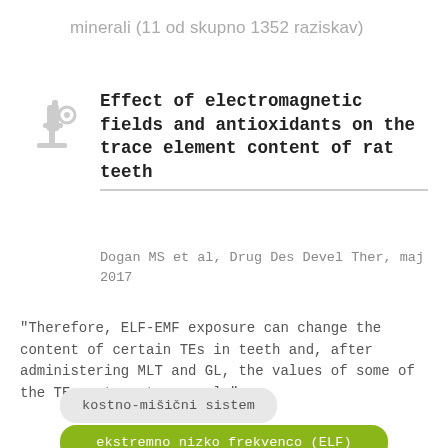minerali (11 od skupno 1352 raziskav)
[Figure (illustration): Gray microscope icon]
Effect of electromagnetic fields and antioxidants on the trace element content of rat teeth
Dogan MS et al, Drug Des Devel Ther, maj 2017
"Therefore, ELF-EMF exposure can change the content of certain TEs in teeth and, after administering MLT and GL, the values of some of the TEs return to normal."
kostno-mišični sistem
ekstremno nizko frekvenco (ELF)